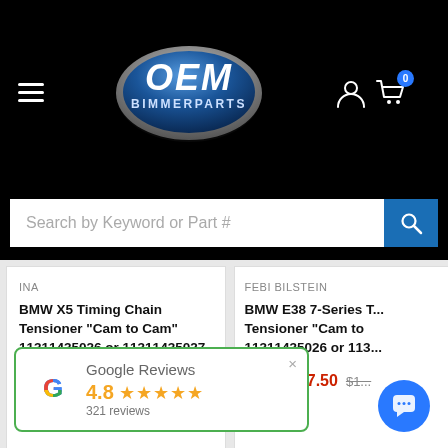[Figure (logo): OEM Bimmer Parts logo — blue oval with OEM text and BIMMERPARTS below]
[Figure (screenshot): Search bar with placeholder 'Search by Keyword or Part #' and blue search button]
INA
BMW X5 Timing Chain Tensioner "Cam to Cam" 11311435026 or 11311435027
From $77.50  $182.48
FEBI BILSTEIN
BMW E38 7-Series Timing Chain Tensioner "Cam to ..." 11311435026 or 113...
From $77.50  $1...
[Figure (infographic): Google Reviews widget showing 4.8 rating with 5 orange stars and 321 reviews]
[Figure (other): Blue circular chat/support button with speech bubble icon]